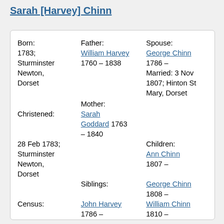Sarah [Harvey] Chinn
| Born / Christened / Census | Father / Mother / Siblings | Spouse / Children |
| --- | --- | --- |
| Born: | Father: | Spouse: |
| 1783; | William Harvey | George Chinn |
| Sturminster Newton, Dorset | 1760 – 1838 | 1786 –
Married: 3 Nov 1807; Hinton St Mary, Dorset |
|  | Mother: |  |
| Christened: | Sarah Goddard 1763 – 1840 | Children: |
| 28 Feb 1783; Sturminster Newton, Dorset |  | Ann Chinn 1807 – |
|  | Siblings: | George Chinn 1808 – |
| Census: | John Harvey 1786 – | William Chinn 1810 – |
| 1851: Yewstock House, Hinton St Mary, Dorset | Margaret Harvey 1791 – 1845 | Samuel Chinn 1812 – |
|  | William Harvey 1795 – | Sarah Chinn 1816 – |
|  | Thomas Harvey 1796 – | Mary Ann |